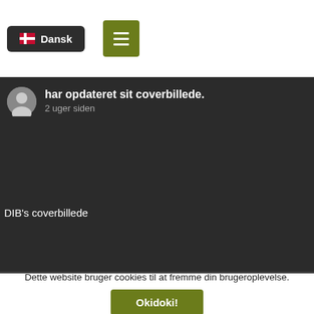[Figure (screenshot): Top navigation bar with Dansk language button showing Danish flag and green hamburger menu button]
har opdateret sit coverbillede.
2 uger siden
DIB's coverbillede
Dette website bruger cookies til at fremme din brugeroplevelse.
Okidoki!